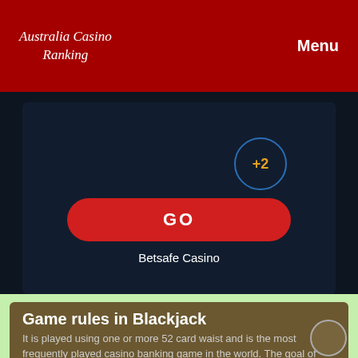Australia Casino Ranking | Menu
[Figure (screenshot): Dark navy casino banner with a +2 circle badge in blue border with gold text, and a large red rounded GO button, with 'Betsafe Casino' text below]
Game rules in Blackjack
It is played using one or more 52 card waist and is the most frequently played casino banking game in the world. The goal of Black Jack the game is to